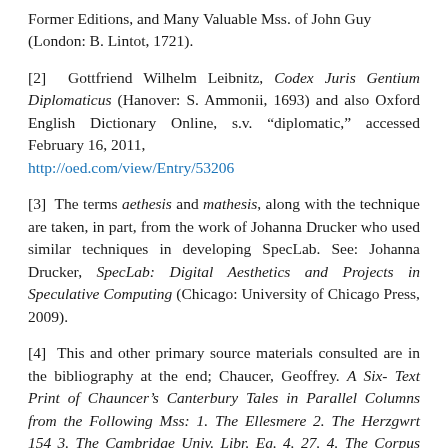Former Editions, and Many Valuable Mss. of John Guy (London: B. Lintot, 1721).
[2] Gottfriend Wilhelm Leibnitz, Codex Juris Gentium Diplomaticus (Hanover: S. Ammonii, 1693) and also Oxford English Dictionary Online, s.v. “diplomatic,” accessed February 16, 2011, http://oed.com/view/Entry/53206
[3] The terms aethesis and mathesis, along with the technique are taken, in part, from the work of Johanna Drucker who used similar techniques in developing SpecLab. See: Johanna Drucker, SpecLab: Digital Aesthetics and Projects in Speculative Computing (Chicago: University of Chicago Press, 2009).
[4] This and other primary source materials consulted are in the bibliography at the end; Chaucer, Geoffrey. A Six-Text Print of Chauncer’s Canterbury Tales in Parallel Columns from the Following Mss: 1. The Ellesmere 2. The Herzgwrt 154 3. The Cambridge Univ. Libr. Eg. 4. 27. 4. The Corpus Christi Coll., Oxford 5. The Petworth 6. The